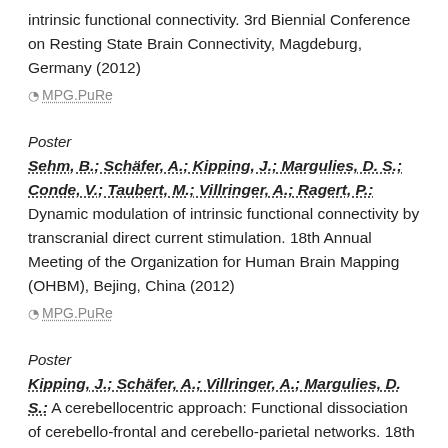intrinsic functional connectivity. 3rd Biennial Conference on Resting State Brain Connectivity, Magdeburg, Germany (2012)
⊘ MPG.PuRe
Poster
Sehm, B.; Schäfer, A.; Kipping, J.; Margulies, D. S.; Conde, V.; Taubert, M.; Villringer, A.; Ragert, P.: Dynamic modulation of intrinsic functional connectivity by transcranial direct current stimulation. 18th Annual Meeting of the Organization for Human Brain Mapping (OHBM), Bejing, China (2012)
⊘ MPG.PuRe
Poster
Kipping, J.; Schäfer, A.; Villringer, A.; Margulies, D. S.: A cerebellocentric approach: Functional dissociation of cerebello-frontal and cerebello-parietal networks. 18th